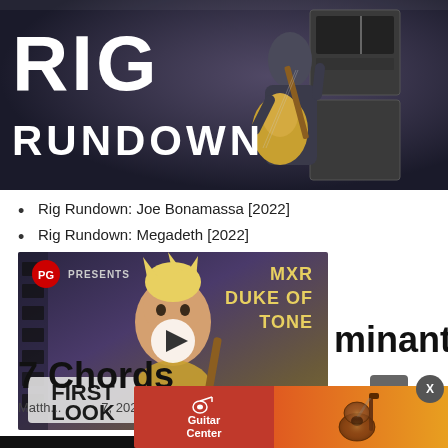[Figure (photo): Rig Rundown header image showing a guitarist playing a Les Paul guitar on stage with amplifiers in background. Large white text reads 'RIG RUNDOWN' on left side.]
Rig Rundown: Joe Bonamassa [2022]
Rig Rundown: Megadeth [2022]
[Figure (screenshot): PG Presents First Look video thumbnail featuring MXR Duke of Tone pedal with a man holding a guitar, 'FIRST LOOK' badge bottom left, play button in center.]
...minant 7 Chords
Matth...7, 2022
[Figure (photo): Guitar Center advertisement banner showing a red/orange gradient background with Guitar Center logo and an acoustic guitar.]